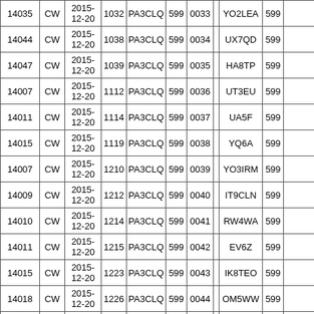| Freq | Mode | Date | Time | Call | RST | Nr |  | Call | RST | ... |
| --- | --- | --- | --- | --- | --- | --- | --- | --- | --- | --- |
| 14035 | CW | 2015-12-20 | 1032 | PA3CLQ | 599 | 0033 |  | YO2LEA | 599 |  |
| 14044 | CW | 2015-12-20 | 1038 | PA3CLQ | 599 | 0034 |  | UX7QD | 599 |  |
| 14047 | CW | 2015-12-20 | 1039 | PA3CLQ | 599 | 0035 |  | HA8TP | 599 |  |
| 14007 | CW | 2015-12-20 | 1112 | PA3CLQ | 599 | 0036 |  | UT3EU | 599 |  |
| 14011 | CW | 2015-12-20 | 1114 | PA3CLQ | 599 | 0037 |  | UA5F | 599 |  |
| 14015 | CW | 2015-12-20 | 1119 | PA3CLQ | 599 | 0038 |  | YQ6A | 599 |  |
| 14007 | CW | 2015-12-20 | 1210 | PA3CLQ | 599 | 0039 |  | YO3IRM | 599 |  |
| 14009 | CW | 2015-12-20 | 1212 | PA3CLQ | 599 | 0040 |  | IT9CLN | 599 |  |
| 14010 | CW | 2015-12-20 | 1214 | PA3CLQ | 599 | 0041 |  | RW4WA | 599 |  |
| 14011 | CW | 2015-12-20 | 1215 | PA3CLQ | 599 | 0042 |  | EV6Z | 599 |  |
| 14015 | CW | 2015-12-20 | 1223 | PA3CLQ | 599 | 0043 |  | IK8TEO | 599 |  |
| 14018 | CW | 2015-12-20 | 1226 | PA3CLQ | 599 | 0044 |  | OM5WW | 599 |  |
| 14020 | CW | 2015-12-20 | 1228 | PA3CLQ | 599 | 0045 |  | IZ4ZZB | 599 |  |
|  |  | 2015- |  |  |  |  |  |  |  |  |